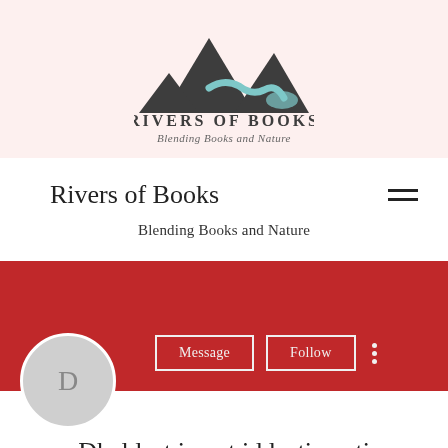[Figure (logo): Rivers of Books logo with three mountain peaks silhouettes in dark gray and a winding blue-gray river, above the text RIVERS OF BOOKS and italic subtitle Blending Books and Nature]
Rivers of Books
Blending Books and Nature
[Figure (screenshot): Red banner section with Message and Follow outline buttons, a three-dot vertical menu icon, and a circular gray avatar with letter D]
Dhal last insert id  lastinserti